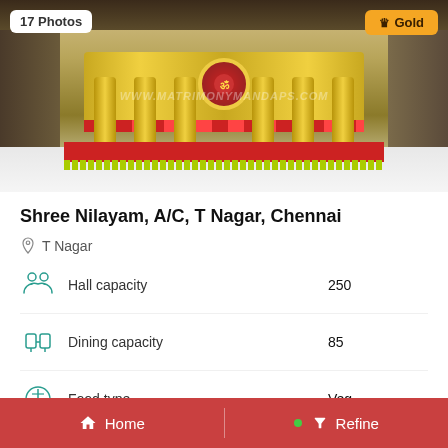[Figure (photo): Interior photo of Shree Nilayam wedding venue showing a decorated stage with yellow/gold draping, columns, red base, lime green fringe, and a large event hall with tiled floor. Watermark reads WWW.MATRIMONYMANDAPS.COM. Badge showing '17 Photos' in top-left and 'Gold' in top-right.]
Shree Nilayam,  A/C, T Nagar, Chennai
T Nagar
Hall capacity	250
Dining capacity	85
Food type	Veg
Rooms	A/C:2 Non-A/C:0
Home | Refine